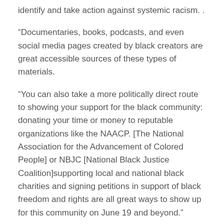identify and take action against systemic racism. .
“Documentaries, books, podcasts, and even social media pages created by black creators are great accessible sources of these types of materials.
“You can also take a more politically direct route to showing your support for the black community: donating your time or money to reputable organizations like the NAACP. [The National Association for the Advancement of Colored People] or NBJC [National Black Justice Coalition]supporting local and national black charities and signing petitions in support of black freedom and rights are all great ways to show up for this community on June 19 and beyond.”
Related Posts:
How did ‘Burma’s Gandhi’ fall from grace in the